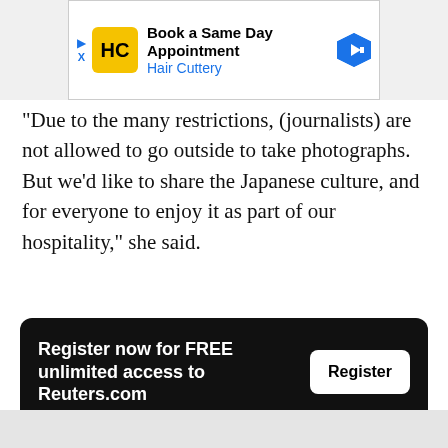[Figure (other): Advertisement banner for Hair Cuttery: Book a Same Day Appointment]
"Due to the many restrictions, (journalists) are not allowed to go outside to take photographs. But we’d like to share the Japanese culture, and for everyone to enjoy it as part of our hospitality," she said.
Register now for FREE unlimited access to Reuters.com  [Register button]
Reporting by Pak Yiu; Writing by William Mallard
Our Standards: The Thomson Reuters Trust Principles.